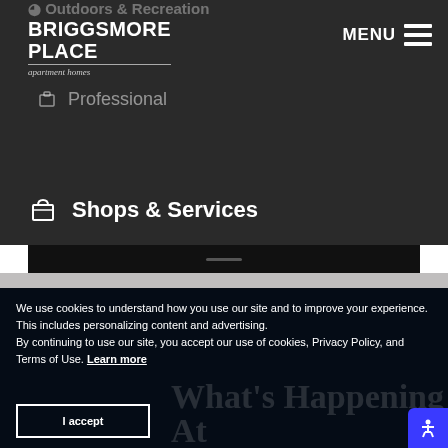Briggsmore Place apartment homes
Outdoors & Recreation
Professional
Shops & Services
We use cookies to understand how you use our site and to improve your experience. This includes personalizing content and advertising.
By continuing to use our site, you accept our use of cookies, Privacy Policy, and Terms of Use. Learn more
I accept
What's Happening At